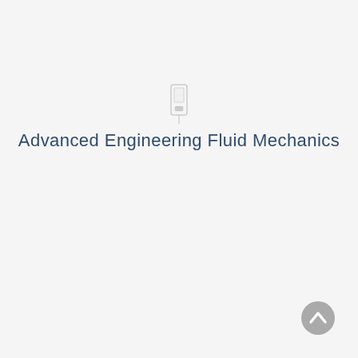[Figure (other): Small icon/logo image centered near top of page, appears to be a light-colored rectangular icon]
Advanced Engineering Fluid Mechanics
[Figure (other): Circular navigation button (up arrow) in grey, positioned at bottom right corner]